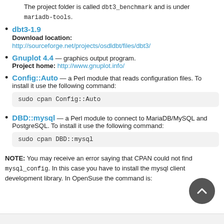The project folder is called dbt3_benchmark and is under mariadb-tools.
dbt3-1.9
Download location:
http://sourceforge.net/projects/osdldbt/files/dbt3/
Gnuplot 4.4 — graphics output program.
Project home: http://www.gnuplot.info/
Config::Auto — a Perl module that reads configuration files. To install it use the following command:
sudo cpan Config::Auto
DBD::mysql — a Perl module to connect to MariaDB/MySQL and PostgreSQL. To install it use the following command:
sudo cpan DBD::mysql
NOTE: You may receive an error saying that CPAN could not find mysql_config. In this case you have to install the mysql client development library. In OpenSuse the command is: